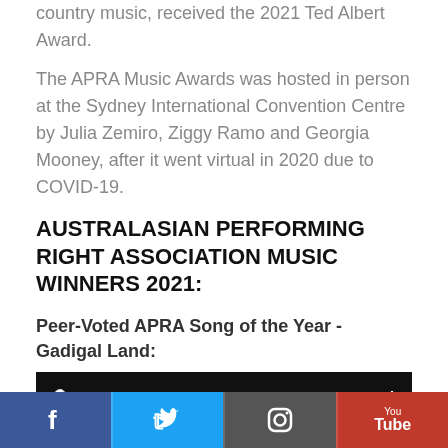country music, received the 2021 Ted Albert Award.
The APRA Music Awards was hosted in person at the Sydney International Convention Centre by Julia Zemiro, Ziggy Ramo and Georgia Mooney, after it went virtual in 2020 due to COVID-19.
AUSTRALASIAN PERFORMING RIGHT ASSOCIATION MUSIC WINNERS 2021:
Peer-Voted APRA Song of the Year - Gadigal Land:
[Figure (screenshot): YouTube video thumbnail showing 'Gadigal Land (ft. Dan Sultan, Joel D...' with a dark thumbnail image of a person's face and a three-dot menu icon.]
Social media links: Facebook, Twitter, Instagram, YouTube